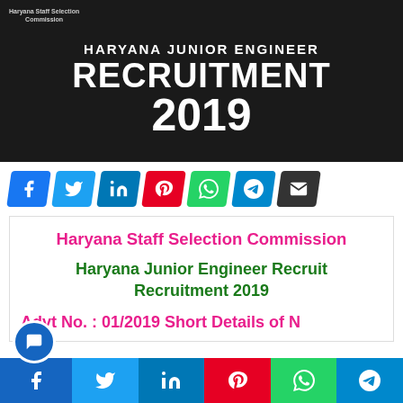[Figure (illustration): Dark banner image with white text: HARYANA JUNIOR ENGINEER RECRUITMENT 2019, with Haryana Staff Selection Commission logo in top-left corner]
[Figure (infographic): Social share buttons bar: Facebook (blue), Twitter (blue), LinkedIn (blue), Pinterest (red), WhatsApp (green), Telegram (blue), Email (dark)]
Haryana Staff Selection Commission
Haryana Junior Engineer Recruitment Recruitment 2019
Advt No. : 01/2019 Short Details of N
[Figure (infographic): Bottom social share bar: Facebook, Twitter, LinkedIn, Pinterest, WhatsApp, Telegram icons]